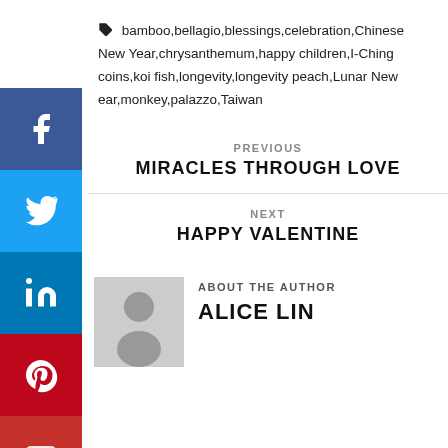🏷 bamboo,bellagio,blessings,celebration,Chinese New Year,chrysanthemum,happy children,I-Ching coins,koi fish,longevity,longevity peach,Lunar New Year,monkey,palazzo,Taiwan
PREVIOUS
MIRACLES THROUGH LOVE
NEXT
HAPPY VALENTINE
ABOUT THE AUTHOR
ALICE LIN